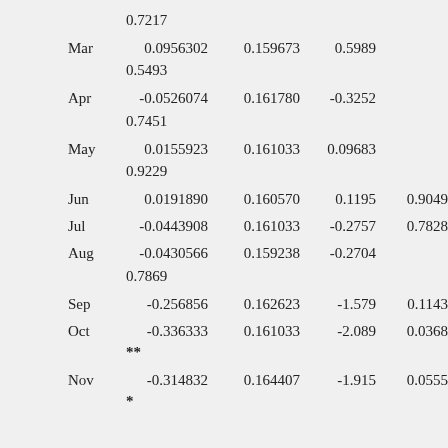| Month | Estimate | Std Error | t-value | p-value |
| --- | --- | --- | --- | --- |
|  | 0.7217 |  |  |  |
| Mar | 0.0956302 | 0.159673 | 0.5989 | 0.5493 |
| Apr | -0.0526074 | 0.161780 | -0.3252 | 0.7451 |
| May | 0.0155923 | 0.161033 | 0.09683 | 0.9229 |
| Jun | 0.0191890 | 0.160570 | 0.1195 | 0.9049 |
| Jul | -0.0443908 | 0.161033 | -0.2757 | 0.7828 |
| Aug | -0.0430566 | 0.159238 | -0.2704 | 0.7869 |
| Sep | -0.256856 | 0.162623 | -1.579 | 0.1143 |
| Oct | -0.336333 | 0.161033 | -2.089 | 0.0368 ** |
| Nov | -0.314832 | 0.164407 | -1.915 | 0.0555 * |